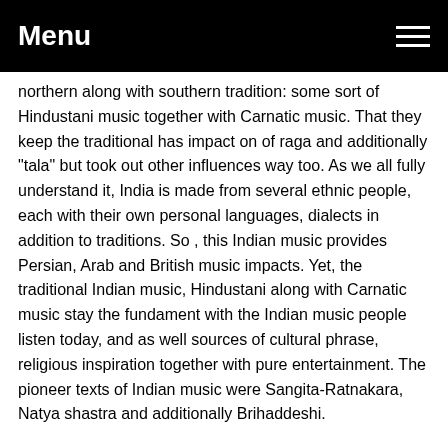Menu
northern along with southern tradition: some sort of Hindustani music together with Carnatic music. That they keep the traditional has impact on of raga and additionally "tala" but took out other influences way too. As we all fully understand it, India is made from several ethnic people, each with their own personal languages, dialects in addition to traditions. So , this Indian music provides Persian, Arab and British music impacts. Yet, the traditional Indian music, Hindustani along with Carnatic music stay the fundament with the Indian music people listen today, and as well sources of cultural phrase, religious inspiration together with pure entertainment. The pioneer texts of Indian music were Sangita-Ratnakara, Natya shastra and additionally Brihaddeshi.
But here's how Indian music meant it was to the open.